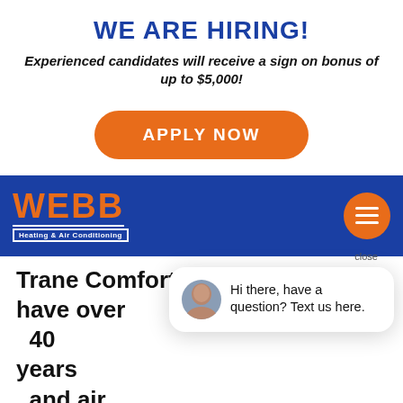WE ARE HIRING!
Experienced candidates will receive a sign on bonus of up to $5,000!
[Figure (other): Orange 'APPLY NOW' button]
[Figure (logo): Webb Heating & Air Conditioning logo on blue navigation bar with hamburger menu]
Trane Comfort Specialist and have over 40 years and air co depend o and industry knowledge that that ke you safe and comfortable in your h or business. Contact us, today!
[Figure (other): Chat popup with avatar: 'Hi there, have a question? Text us here.' with close button and chat FAB button]